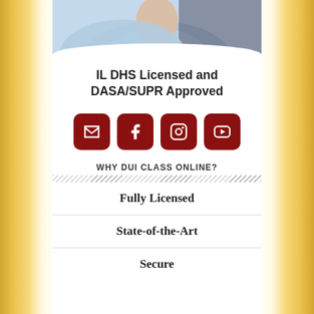[Figure (photo): Partial photo of a person wearing a light blue shirt, cropped at top of page]
IL DHS Licensed and DASA/SUPR Approved
[Figure (infographic): Row of four dark red rounded square social media icon buttons: email envelope, Facebook f, Instagram camera, YouTube play button]
WHY DUI CLASS ONLINE?
Fully Licensed
State-of-the-Art
Secure